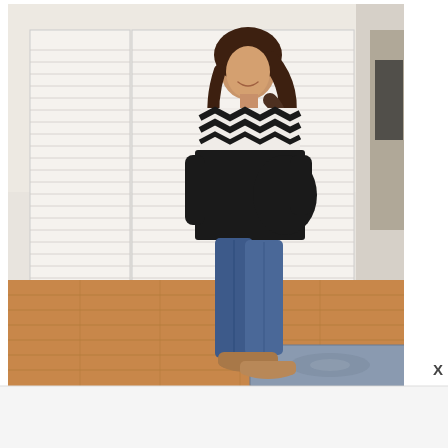[Figure (photo): A smiling woman with brown wavy hair stands in profile in a room with white louvered closet doors. She is wearing a black and white Fair Isle / Nordic pattern sweater, blue skinny jeans, and tan suede moccasin shoes. The floor is hardwood in warm brown tones. A blue patterned area rug is visible in the lower right. A mirror with a dark garment reflected is visible on the far right edge. The image has white borders on the left, top, and right sides forming a frame.]